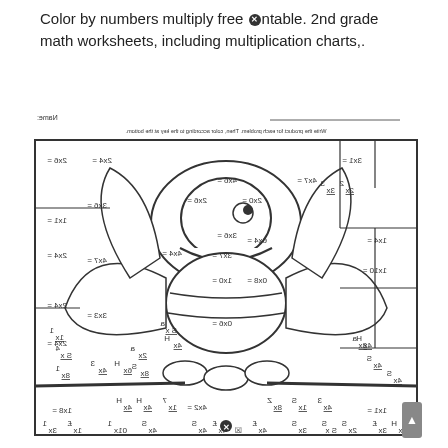Color by numbers multiply free ✖ntable. 2nd grade math worksheets, including multiplication charts,.
[Figure (illustration): A color-by-numbers multiplication worksheet featuring a cartoon bee/owl bird character sitting on a branch, with various multiplication problems (like 3x1=, 4x7=, 2x6=, 3x4=, etc.) written in mirrored/flipped text throughout the sections of the drawing. There is a name line at top right and instruction text at top. The image appears mirrored/reflected.]